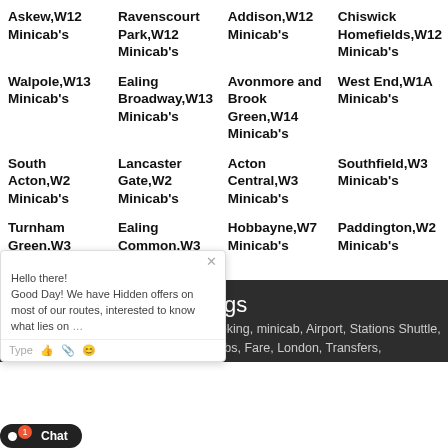Askew,W12 Minicab's
Ravenscourt Park,W12 Minicab's
Addison,W12 Minicab's
Chiswick Homefields,W12 Minicab's
Walpole,W13 Minicab's
Ealing Broadway,W13 Minicab's
Avonmore and Brook Green,W14 Minicab's
West End,W1A Minicab's
South Acton,W2 Minicab's
Lancaster Gate,W2 Minicab's
Acton Central,W3 Minicab's
Southfield,W3 Minicab's
Turnham Green,W3 Minicab's
Ealing Common,W3 Minicab's
Hobbayne,W7 Minicab's
Paddington,W2 Minicab's
Tags
UK, London, Minicab, Quote, cabs, Booking, minicab, Airport, Stations Shuttle, Rail, Best, Reliable, Safe, Cabs, Fare, London, Transfers,